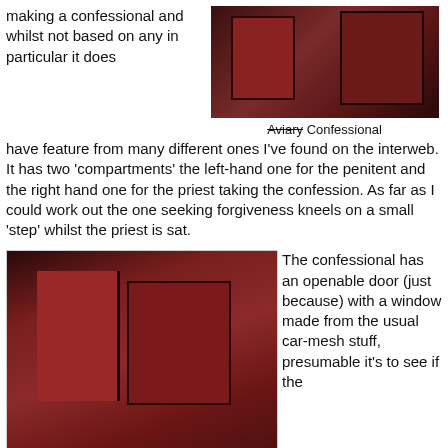making a confessional and whilst not based on any in particular it does
[Figure (photo): Top-down photo of a miniature red wooden confessional model on a dark background]
Aviary Confessional
have feature from many different ones I've found on the interweb.
It has two 'compartments' the left-hand one for the penitent and the right hand one for the priest taking the confession. As far as I could work out the one seeking forgiveness kneels on a small 'step' whilst the priest is sat.
[Figure (photo): Photo of a miniature red wooden confessional model showing interior with two compartments, a step, and an openable door, viewed from above at an angle]
The confessional has an openable door (just because) with a window made from the usual car-mesh stuff, presumable it's to see if the